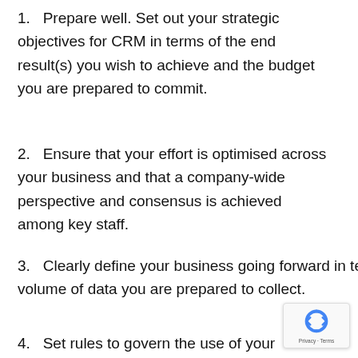1. Prepare well. Set out your strategic objectives for CRM in terms of the end result(s) you wish to achieve and the budget you are prepared to commit.
2. Ensure that your effort is optimised across your business and that a company-wide perspective and consensus is achieved among key staff.
3. Clearly define your business going forward in terms of the scale of your marketing effort and the volume of data you are prepared to collect.
4. Set rules to govern the use of your